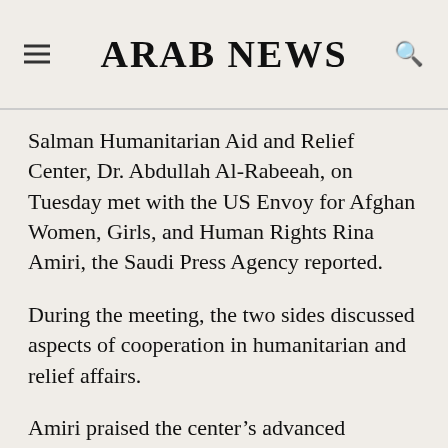ARAB NEWS
Salman Humanitarian Aid and Relief Center, Dr. Abdullah Al-Rabeeah, on Tuesday met with the US Envoy for Afghan Women, Girls, and Human Rights Rina Amiri, the Saudi Press Agency reported.
During the meeting, the two sides discussed aspects of cooperation in humanitarian and relief affairs.
Amiri praised the center’s advanced professional performance and its support for needy people around the world, especially Afghanistan.
Al-Rabeeah separately met with Mamadou Sow, the head of the International Committee of the